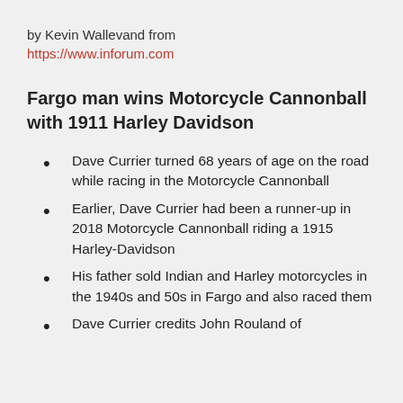by Kevin Wallevand from
https://www.inforum.com
Fargo man wins Motorcycle Cannonball with 1911 Harley Davidson
Dave Currier turned 68 years of age on the road while racing in the Motorcycle Cannonball
Earlier, Dave Currier had been a runner-up in 2018 Motorcycle Cannonball riding a 1915 Harley-Davidson
His father sold Indian and Harley motorcycles in the 1940s and 50s in Fargo and also raced them
Dave Currier credits John Rouland of